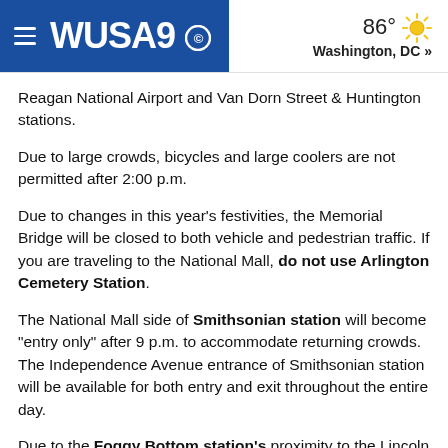WUSA9 | 86° Washington, DC »
Reagan National Airport and Van Dorn Street & Huntington stations.
Due to large crowds, bicycles and large coolers are not permitted after 2:00 p.m.
Due to changes in this year's festivities, the Memorial Bridge will be closed to both vehicle and pedestrian traffic. If you are traveling to the National Mall, do not use Arlington Cemetery Station.
The National Mall side of Smithsonian station will become "entry only" after 9 p.m. to accommodate returning crowds. The Independence Avenue entrance of Smithsonian station will be available for both entry and exit throughout the entire day.
Due to the Foggy Bottom station's proximity to the Lincoln Memorial, it may become "entry only" prior to festivities and